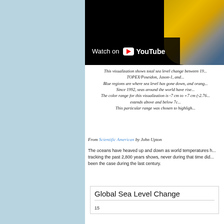[Figure (screenshot): YouTube video thumbnail showing a globe with orange/yellow sea level visualization on black background, with 'Watch on YouTube' overlay button]
This visualization shows total sea level change between 19... TOPEX/Poseidon, Jason-1, and... Blue regions are where sea level has gone down, and orang... Since 1992, seas around the world have rise... The color range for this visualization is -7 cm to +7 cm (-2.76... extends above and below 7c... This particular range was chosen to highligh...
From Scientific American by John Upton
The oceans have heaved up and down as world temperatures h... tracking the past 2,800 years shows, never during that time did... been the case during the last century.
[Figure (other): Global Sea Level Change chart header with y-axis label showing 15]
Global Sea Level Change